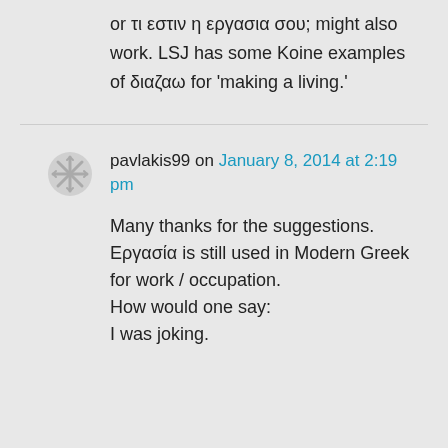or τι εστιν η εργασια σου; might also work. LSJ has some Koine examples of διαζαω for 'making a living.'
pavlakis99 on January 8, 2014 at 2:19 pm
Many thanks for the suggestions.
Εργασία is still used in Modern Greek for work / occupation.
How would one say:
I was joking.